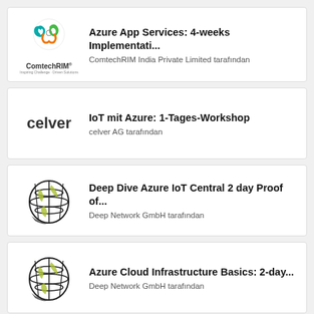[Figure (logo): ComtechRIM logo with colorful knot icon and company name]
Azure App Services: 4-weeks Implementati...
ComtechRIM India Private Limited tarafından
[Figure (logo): celver text logo in bold black]
IoT mit Azure: 1-Tages-Workshop
celver AG tarafından
[Figure (logo): Deep Network GmbH globe/network logo in black and yellow-green]
Deep Dive Azure IoT Central 2 day Proof of...
Deep Network GmbH tarafından
[Figure (logo): Deep Network GmbH globe/network logo in black and yellow-green]
Azure Cloud Infrastructure Basics: 2-day...
Deep Network GmbH tarafından